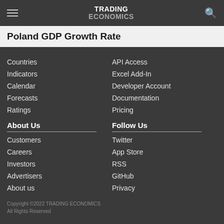TRADING ECONOMICS
Poland GDP Growth Rate
Countries
Indicators
Calendar
Forecasts
Ratings
API Access
Excel Add-In
Developer Account
Documentation
Pricing
About Us
Customers
Careers
Investors
Advertisers
About us
Follow Us
Twitter
App Store
RSS
GitHub
Privacy
Copyright ©2022 TRADING ECONOMICS
All Rights Reserved